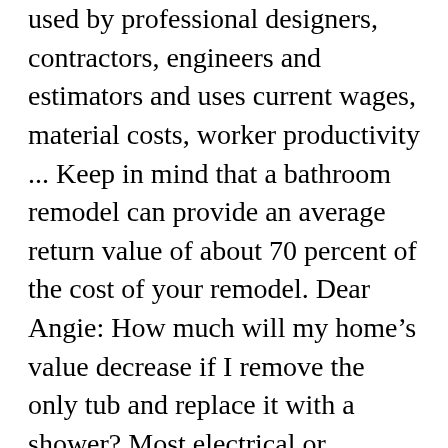used by professional designers, contractors, engineers and estimators and uses current wages, material costs, worker productivity ... Keep in mind that a bathroom remodel can provide an average return value of about 70 percent of the cost of your remodel. Dear Angie: How much will my home's value decrease if I remove the only tub and replace it with a shower? Most electrical or plumbing renovations need a permit, such as bathroom remodels. Use tile to unify the entire space and create a harmonious effect. Cap the wires with wire connectors. Should I replace the tile above the tub before or after I have the tub refinished? Aug 1, 2015 - Master bath remodel.